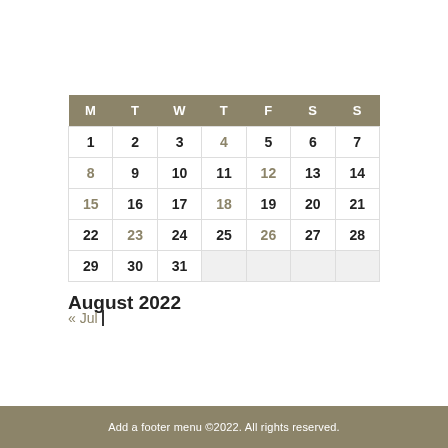| M | T | W | T | F | S | S |
| --- | --- | --- | --- | --- | --- | --- |
| 1 | 2 | 3 | 4 | 5 | 6 | 7 |
| 8 | 9 | 10 | 11 | 12 | 13 | 14 |
| 15 | 16 | 17 | 18 | 19 | 20 | 21 |
| 22 | 23 | 24 | 25 | 26 | 27 | 28 |
| 29 | 30 | 31 |  |  |  |  |
August 2022
« Jul
Add a footer menu  ©2022. All rights reserved.